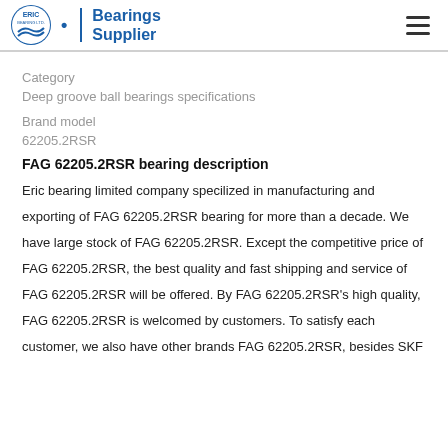ERIC Bearings Supplier
Category
Deep groove ball bearings specifications
Brand model
62205.2RSR
FAG 62205.2RSR bearing description
Eric bearing limited company specilized in manufacturing and exporting of FAG 62205.2RSR bearing for more than a decade. We have large stock of FAG 62205.2RSR. Except the competitive price of FAG 62205.2RSR, the best quality and fast shipping and service of FAG 62205.2RSR will be offered. By FAG 62205.2RSR's high quality, FAG 62205.2RSR is welcomed by customers. To satisfy each customer, we also have other brands FAG 62205.2RSR, besides SKF